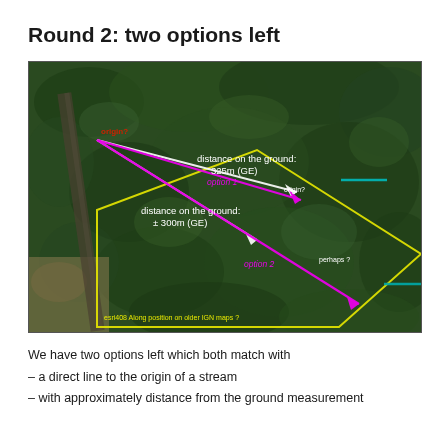Round 2: two options left
[Figure (map): Aerial/satellite map showing a forested area with colored lines indicating measurement options. White lines show 'distance on the ground: 325m (GE)' and 'distance on the ground: ± 300m (GE)'. Magenta/pink lines show 'option 1' and 'option 2'. A yellow polygon outlines a region. Labels include 'origin?' in red, 'esri408 Along position on older IGN maps ?' in yellow, and teal/cyan markers.]
We have two options left which both match with
– a direct line to the origin of a stream
– with approximately distance from the ground measurement